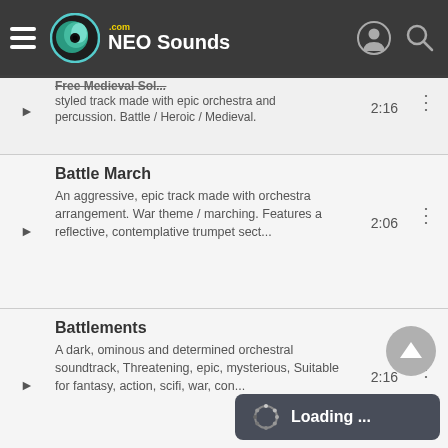[Figure (screenshot): NEO Sounds website navigation bar with hamburger menu, circular logo with green swirl, brand name 'NEO Sounds', user icon and search icon on the right]
styled track made with epic orchestra and percussion. Battle / Heroic / Medieval.
Battle March
An aggressive, epic track made with orchestra arrangement. War theme / marching. Features a reflective, contemplative trumpet sect...
2:06
Battlements
A dark, ominous and determined orchestral soundtrack, Threatening, epic, mysterious, Suitable for fantasy, action, scifi, war, con...
2:16
Building Power
Dark, edgy track, filled with power. Pulsating synths, strings, impacts and everything suitable for powerful blockbuster track.
1:17
Loading ...